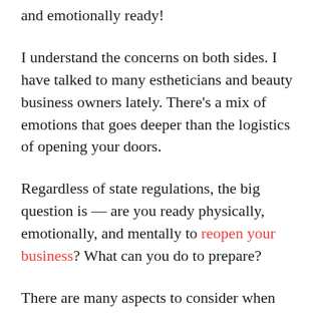and emotionally ready!
I understand the concerns on both sides. I have talked to many estheticians and beauty business owners lately. There’s a mix of emotions that goes deeper than the logistics of opening your doors.
Regardless of state regulations, the big question is — are you ready physically, emotionally, and mentally to reopen your business? What can you do to prepare?
There are many aspects to consider when reopening your beauty business and here